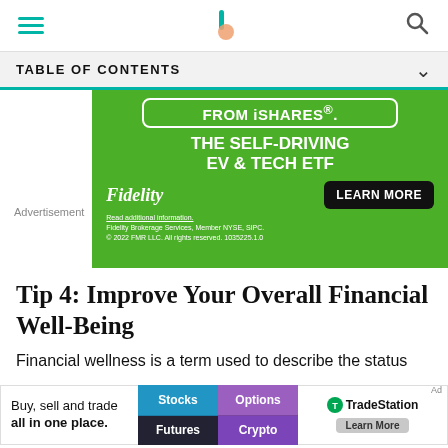Navigation bar with hamburger menu, site logo, and search icon
TABLE OF CONTENTS
[Figure (illustration): Fidelity iShares advertisement banner: 'FROM iSHARES. THE SELF-DRIVING EV & TECH ETF' with Fidelity logo and Learn More button]
Advertisement
Tip 4: Improve Your Overall Financial Well-Being
Financial wellness is a term used to describe the status
[Figure (illustration): TradeStation advertisement banner: 'Buy, sell and trade all in one place.' with Stocks, Options, Futures, Crypto buttons and Learn More]